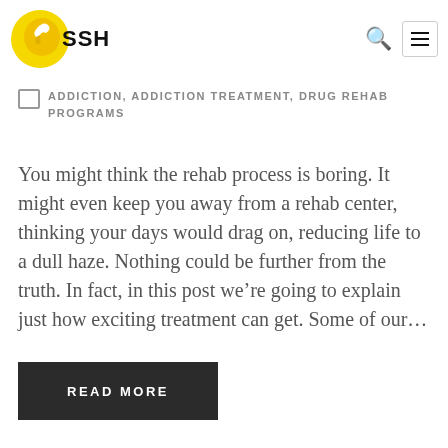[Figure (logo): SSH logo with yellow circular bird icon and bold SSH text]
ADDICTION, ADDICTION TREATMENT, DRUG REHAB PROGRAMS
You might think the rehab process is boring. It might even keep you away from a rehab center, thinking your days would drag on, reducing life to a dull haze. Nothing could be further from the truth. In fact, in this post we're going to explain just how exciting treatment can get. Some of our…
READ MORE